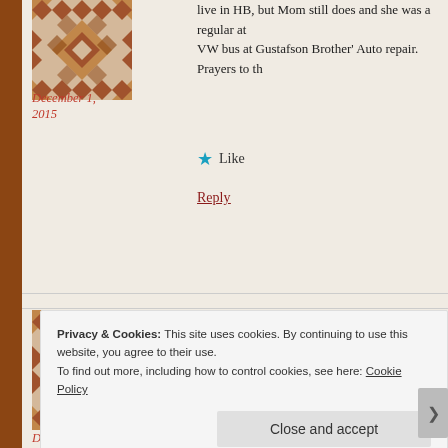[Figure (illustration): Brown geometric quilt/mosaic pattern avatar icon (top comment)]
December 1, 2015
live in HB, but Mom still does and she was a regular at
VW bus at Gustafson Brother' Auto repair. Prayers to th
★ Like
Reply
[Figure (illustration): Brown geometric quilt/mosaic pattern avatar icon (bottom comment)]
December 1, 2015
AurorA T-Z
Thoughts and prayers for the Gustafson family. I knew
★ Like
Reply
Privacy & Cookies: This site uses cookies. By continuing to use this website, you agree to their use.
To find out more, including how to control cookies, see here: Cookie Policy
Close and accept